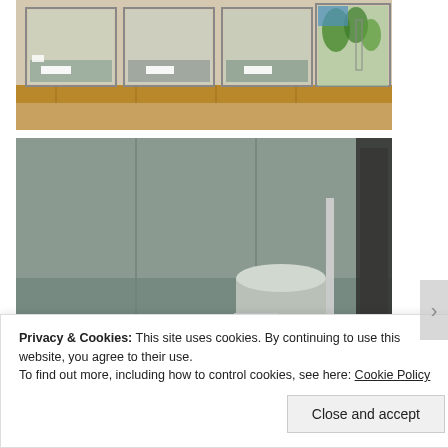[Figure (photo): Laboratory aquarium tanks on wooden shelving, showing multiple glass tanks, one with green aquatic plants and items on a bench]
[Figure (photo): Close-up of a large aquarium tank interior with water, grey substrate/gravel, a cylindrical container and equipment visible, with a white label reading 'Stability']
Privacy & Cookies: This site uses cookies. By continuing to use this website, you agree to their use.
To find out more, including how to control cookies, see here: Cookie Policy
Close and accept